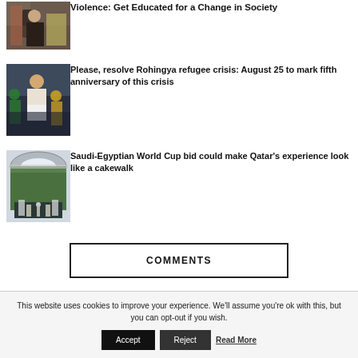[Figure (photo): Partial thumbnail of people with colorful fabric]
Violence: Get Educated for a Change in Society
[Figure (photo): Group of people including a man in white shirt]
Please, resolve Rohingya refugee crisis: August 25 to mark fifth anniversary of this crisis
[Figure (photo): Stadium interior with people on field]
Saudi-Egyptian World Cup bid could make Qatar’s experience look like a cakewalk
COMMENTS
This website uses cookies to improve your experience. We’ll assume you’re ok with this, but you can opt-out if you wish.
Accept   Reject   Read More